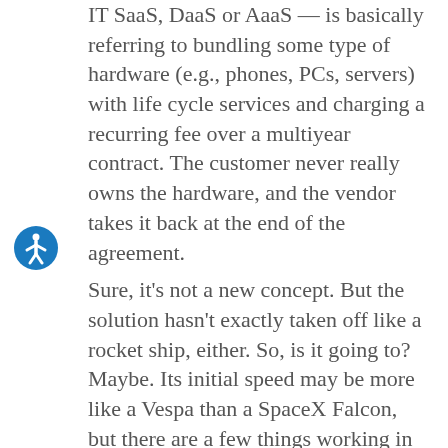IT SaaS, DaaS or AaaS — is basically referring to bundling some type of hardware (e.g., phones, PCs, servers) with life cycle services and charging a recurring fee over a multiyear contract. The customer never really owns the hardware, and the vendor takes it back at the end of the agreement.
Sure, it's not a new concept. But the solution hasn't exactly taken off like a rocket ship, either. So, is it going to? Maybe. Its initial speed may be more like a Vespa than a SpaceX Falcon, but there are a few things working in its favor.
Why do buyers want it?
Retiring hardware is a huge pain. I have talked to IT leaders who have literally acquired warehouse space solely to store